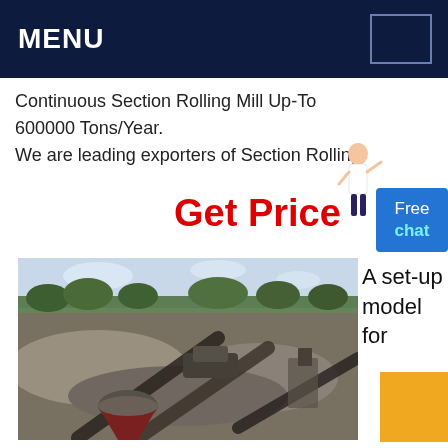MENU
Continuous Section Rolling Mill Up-To 600000 Tons/Year. We are leading exporters of Section Rolling
Get Price
[Figure (other): Free chat button - blue rectangular button with 'Free' and 'chat' text]
A set-up model for
[Figure (photo): Aerial view of a mining/crushing plant facility with conveyor belts, cone crusher, and aggregates stockpiles surrounded by trees]